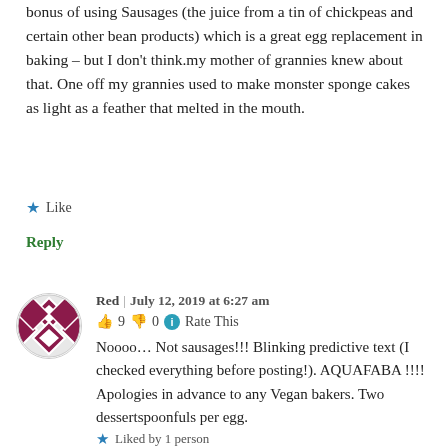bonus of using Sausages (the juice from a tin of chickpeas and certain other bean products) which is a great egg replacement in baking – but I don't think.my mother of grannies knew about that. One off my grannies used to make monster sponge cakes as light as a feather that melted in the mouth.
★ Like
Reply
[Figure (illustration): Circular avatar with a geometric diamond/cross pattern in dark red and white]
Red | July 12, 2019 at 6:27 am
👍 9 👎 0 ℹ Rate This
Noooo… Not sausages!!! Blinking predictive text (I checked everything before posting!). AQUAFABA !!!! Apologies in advance to any Vegan bakers. Two dessertspoonfuls per egg.
★ Liked by 1 person